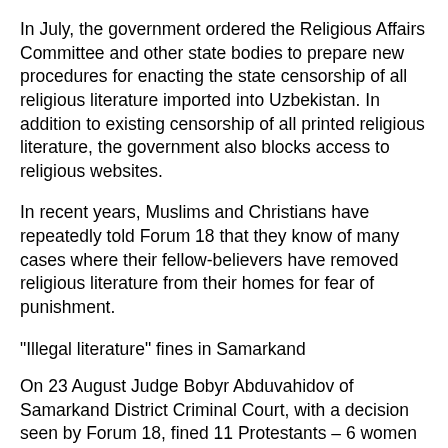In July, the government ordered the Religious Affairs Committee and other state bodies to prepare new procedures for enacting the state censorship of all religious literature imported into Uzbekistan. In addition to existing censorship of all printed religious literature, the government also blocks access to religious websites.
In recent years, Muslims and Christians have repeatedly told Forum 18 that they know of many cases where their fellow-believers have removed religious literature from their homes for fear of punishment.
"Illegal literature" fines in Samarkand
On 23 August Judge Bobyr Abduvahidov of Samarkand District Criminal Court, with a decision seen by Forum 18, fined 11 Protestants – 6 women and 5 men – under Administrative Code Article 184-2 for illegal storage and distribution of religious literature.
Article 184-2 punishes: "Illegal production, storage, or